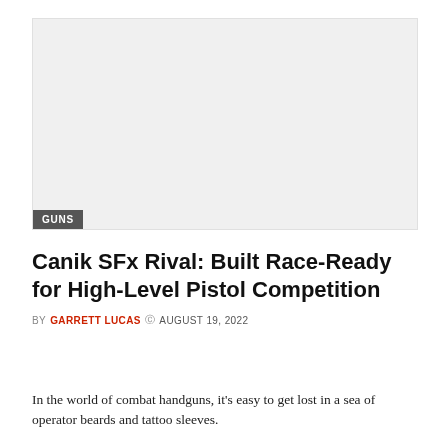[Figure (photo): Large placeholder image area with light gray background, with a 'GUNS' category badge overlaid at bottom-left.]
Canik SFx Rival: Built Race-Ready for High-Level Pistol Competition
BY GARRETT LUCAS  AUGUST 19, 2022
In the world of combat handguns, it’s easy to get lost in a sea of operator beards and tattoo sleeves.